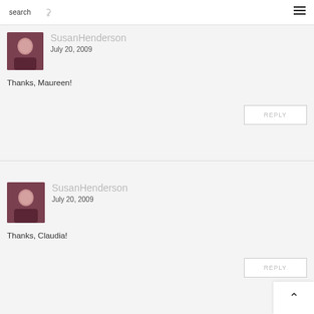search [search icon] [menu icon]
SusanHenderson
July 20, 2009
Thanks, Maureen!
REPLY
SusanHenderson
July 20, 2009
Thanks, Claudia!
REPLY